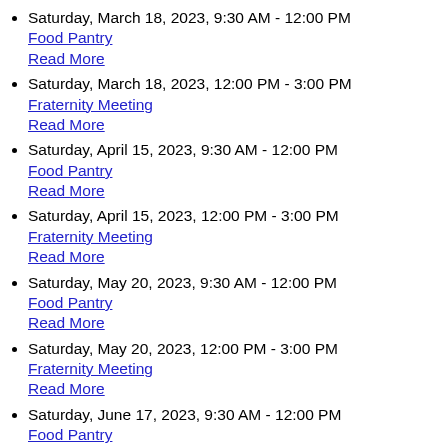Saturday, March 18, 2023, 9:30 AM - 12:00 PM
Food Pantry
Read More
Saturday, March 18, 2023, 12:00 PM - 3:00 PM
Fraternity Meeting
Read More
Saturday, April 15, 2023, 9:30 AM - 12:00 PM
Food Pantry
Read More
Saturday, April 15, 2023, 12:00 PM - 3:00 PM
Fraternity Meeting
Read More
Saturday, May 20, 2023, 9:30 AM - 12:00 PM
Food Pantry
Read More
Saturday, May 20, 2023, 12:00 PM - 3:00 PM
Fraternity Meeting
Read More
Saturday, June 17, 2023, 9:30 AM - 12:00 PM
Food Pantry
Read More
Saturday, June 17, 2023, 12:00 PM - 3:00 PM
Fraternity Meeting
Read More
Saturday, July 15, 2023, 9:30 AM - 12:00 PM